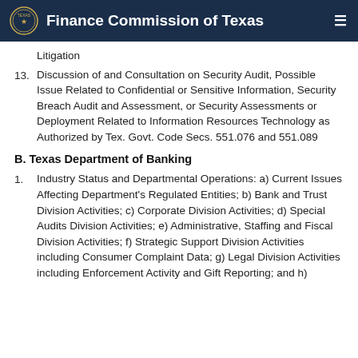Finance Commission of Texas
Litigation
13. Discussion of and Consultation on Security Audit, Possible Issue Related to Confidential or Sensitive Information, Security Breach Audit and Assessment, or Security Assessments or Deployment Related to Information Resources Technology as Authorized by Tex. Govt. Code Secs. 551.076 and 551.089
B. Texas Department of Banking
1. Industry Status and Departmental Operations: a) Current Issues Affecting Department's Regulated Entities; b) Bank and Trust Division Activities; c) Corporate Division Activities; d) Special Audits Division Activities; e) Administrative, Staffing and Fiscal Division Activities; f) Strategic Support Division Activities including Consumer Complaint Data; g) Legal Division Activities including Enforcement Activity and Gift Reporting; and h)